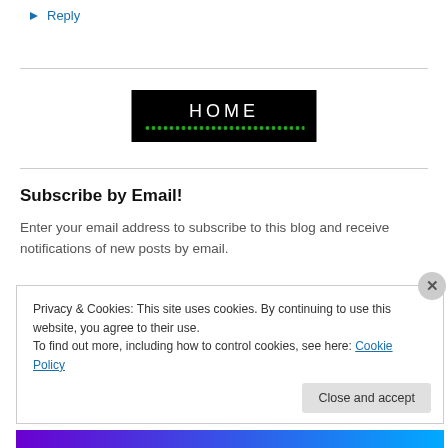↳ Reply
[Figure (logo): Black banner with white text reading HOME and a row of green dots beneath it]
Subscribe by Email!
Enter your email address to subscribe to this blog and receive notifications of new posts by email.
Privacy & Cookies: This site uses cookies. By continuing to use this website, you agree to their use. To find out more, including how to control cookies, see here: Cookie Policy
Close and accept